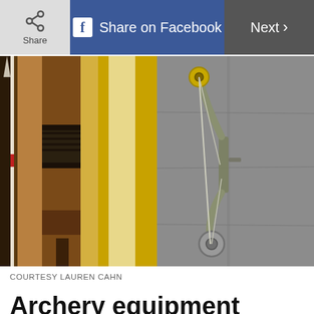Share | Share on Facebook | Next >
[Figure (photo): Two photos of archery equipment side by side: left photo shows a collection of wooden bows and arrows stacked together; right photo shows a compound bow lying on pavement/asphalt.]
COURTESY LAUREN CAHN
Archery equipment
These bows came from a Valhalla, New York